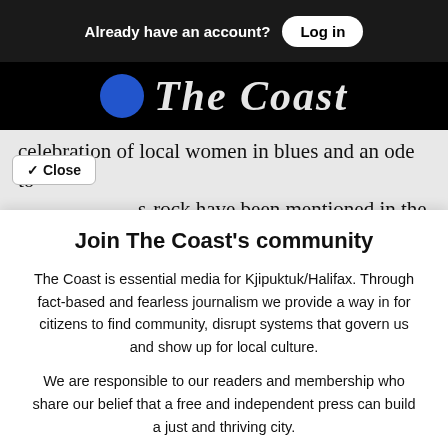Already have an account? Log in
[Figure (logo): The Coast newspaper logo — white italic serif text on black background with blue circle icon]
celebration of local women in blues and an ode to s-rock have been mentioned in the lineup,
✓ Close
Join The Coast's community
The Coast is essential media for Kjipuktuk/Halifax. Through fact-based and fearless journalism we provide a way in for citizens to find community, disrupt systems that govern us and show up for local culture.

We are responsible to our readers and membership who share our belief that a free and independent press can build a just and thriving city.